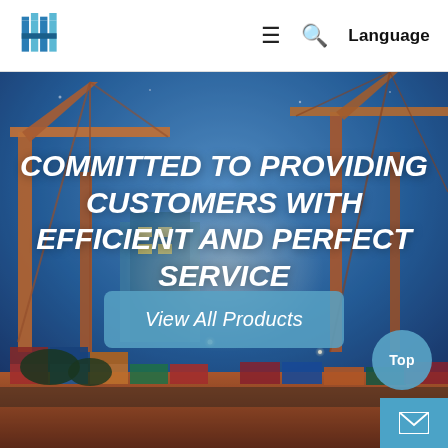Logo | ≡ 🔍 Language
[Figure (photo): Night-time aerial photograph of a busy shipping port with large orange crane structures illuminated against a blue dusk sky, container ships, stacked shipping containers in the foreground.]
COMMITTED TO PROVIDING CUSTOMERS WITH EFFICIENT AND PERFECT SERVICE
View All Products
Top